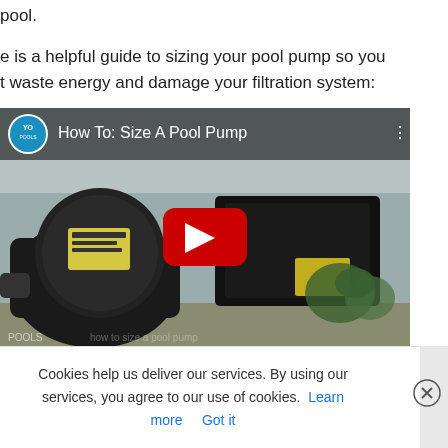pool.
e is a helpful guide to sizing your pool pump so you t waste energy and damage your filtration system:
[Figure (screenshot): YouTube video thumbnail showing a pool pump with the title 'How To: Size A Pool Pump', including a red play button overlay and a YouTube channel logo.]
w t
as you take extra caution to care for your heart to re it works properly, your water pump requires some
Cookies help us deliver our services. By using our services, you agree to our use of cookies. Learn more   Got it